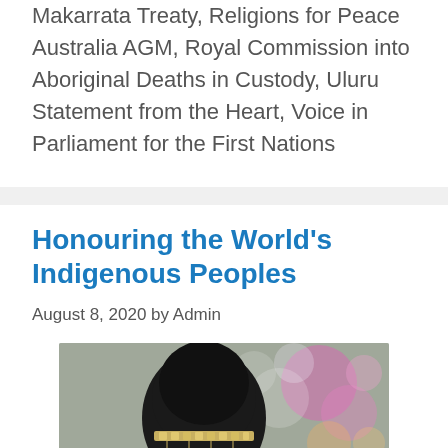Makarrata Treaty, Religions for Peace Australia AGM, Royal Commission into Aboriginal Deaths in Custody, Uluru Statement from the Heart, Voice in Parliament for the First Nations
Honouring the World's Indigenous Peoples
August 8, 2020 by Admin
[Figure (photo): Back view of a person with dark hair wearing a decorative beaded headband, with blurred colorful bokeh lights in the background]